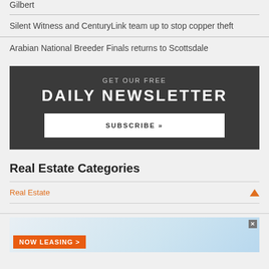Gilbert
Silent Witness and CenturyLink team up to stop copper theft
Arabian National Breeder Finals returns to Scottsdale
[Figure (infographic): Newsletter signup box with dark background. Text: GET OUR FREE DAILY NEWSLETTER. Button: SUBSCRIBE >>]
Real Estate Categories
Real Estate
[Figure (infographic): Advertisement banner showing NOW LEASING > with orange bar and sky background]